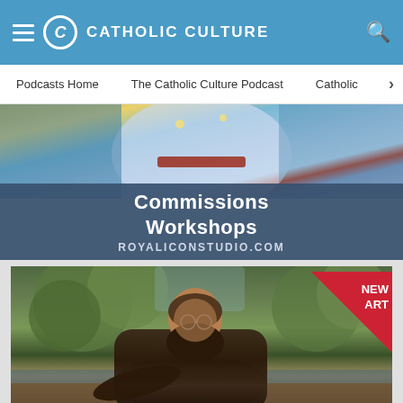CATHOLIC CULTURE
Podcasts Home | The Catholic Culture Podcast | Catholic
[Figure (illustration): Royal Icon Studio advertisement banner showing a religious icon painting (blue and gold Byzantine style) with overlay text reading 'Commissions Workshops ROYALICONSTUDIO.COM' on a dark blue-gray background]
[Figure (illustration): Advertisement banner showing a painted portrait of a bearded monk or friar in dark robes seated outdoors in a green natural setting, with a red 'NEW ART' badge in the upper right corner]